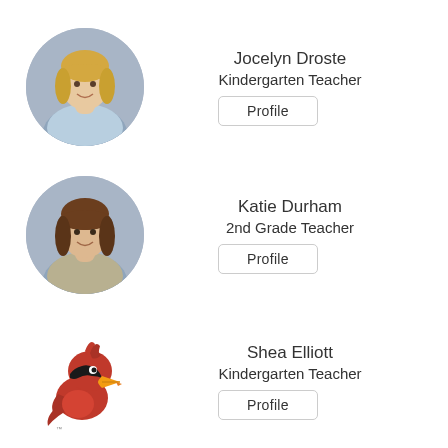[Figure (photo): Circular headshot photo of Jocelyn Droste, a woman with blonde hair]
Jocelyn Droste
Kindergarten Teacher
Profile
[Figure (photo): Circular headshot photo of Katie Durham, a woman with brown hair]
Katie Durham
2nd Grade Teacher
Profile
[Figure (logo): Red cardinal mascot logo]
Shea Elliott
Kindergarten Teacher
Profile